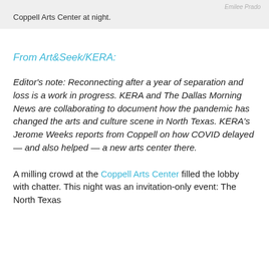Emilee Prado
Coppell Arts Center at night.
From Art&Seek/KERA:
Editor's note: Reconnecting after a year of separation and loss is a work in progress. KERA and The Dallas Morning News are collaborating to document how the pandemic has changed the arts and culture scene in North Texas. KERA's Jerome Weeks reports from Coppell on how COVID delayed — and also helped — a new arts center there.
A milling crowd at the Coppell Arts Center filled the lobby with chatter. This night was an invitation-only event: The North Texas